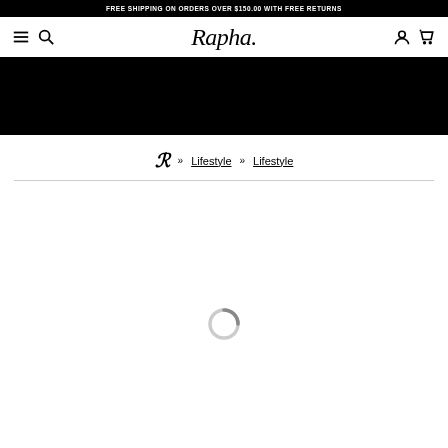FREE SHIPPING ON ORDERS OVER $150.00 WITH FREE RETURNS
[Figure (logo): Rapha brand logo and navigation bar with hamburger menu, search icon, account icon, and cart icon]
[Figure (photo): Black hero/banner image area]
R » Lifestyle » Lifestyle
[Figure (other): Loading spinner icon (circular loading indicator)]